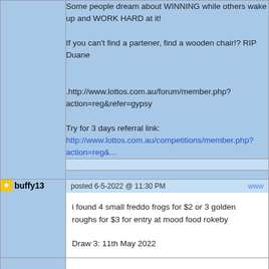Some people dream about WINNING while others wake up and WORK HARD at it!

If you can't find a partener, find a wooden chair!? RIP Duane

.http://www.lottos.com.au/forum/member.php?action=reg&refer=gypsy

Try for 3 days referral link:
http://www.lottos.com.au/competitions/member.php?action=reg&...
posted 6-5-2022 @ 11:30 PM
buffy13
i found 4 small freddo frogs for $2 or 3 golden roughs for $3 for entry at mood food rokeby

Draw 3: 11th May 2022
posted 14-5-2022 @ 08:10 AM
wenwin